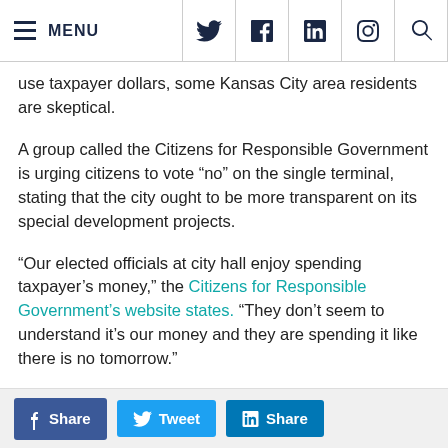MENU [navigation bar with social icons: Twitter, Facebook, LinkedIn, Instagram, Search]
use taxpayer dollars, some Kansas City area residents are skeptical.
A group called the Citizens for Responsible Government is urging citizens to vote “no” on the single terminal, stating that the city ought to be more transparent on its special development projects.
“Our elected officials at city hall enjoy spending taxpayer’s money,” the Citizens for Responsible Government’s website states. “They don’t seem to understand it’s our money and they are spending it like there is no tomorrow.”
Dan Coffey, treasurer of Citizens for Responsible Government, suggests that the city is “absolutely” not
Share  Tweet  Share